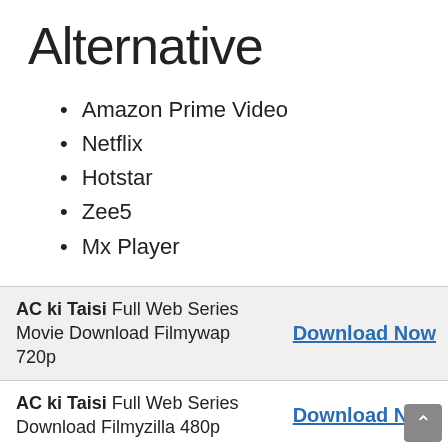Alternative
Amazon Prime Video
Netflix
Hotstar
Zee5
Mx Player
| Title | Link |
| --- | --- |
| AC ki Taisi Full Web Series Movie Download Filmywap 720p | Download Now |
| AC ki Taisi Full Web Series Download Filmyzilla 480p | Download Now |
| AC ki Taisi Full Web Series Download Pagalworld 360p | Download Now |